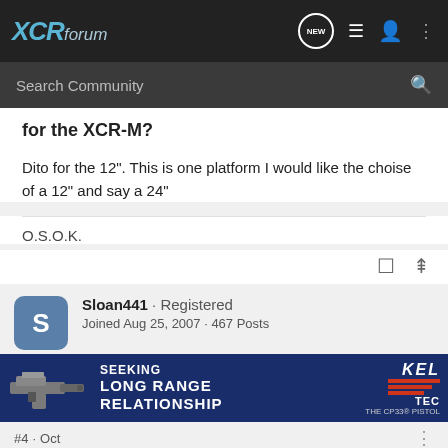XCRforum
Search Community
for the XCR-M?
Dito for the 12". This is one platform I would like the choise of a 12" and say a 24"
O.S.O.K.
Sloan441 · Registered
Joined Aug 25, 2007 · 467 Posts
[Figure (screenshot): Kel-Tec advertisement banner: SEEKING LONG RANGE RELATIONSHIP featuring CP33 pistol image]
#4 · Oct